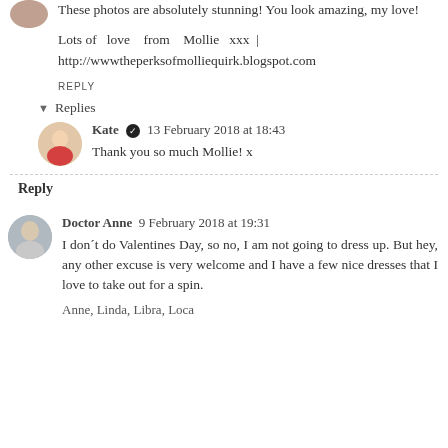These photos are absolutely stunning! You look amazing, my love!
Lots of love from Mollie xxx | http://wwwtheperksofmolliequirk.blogspot.com
REPLY
Replies
Kate  13 February 2018 at 18:43
Thank you so much Mollie! x
Reply
Doctor Anne  9 February 2018 at 19:31
I don´t do Valentines Day, so no, I am not going to dress up. But hey, any other excuse is very welcome and I have a few nice dresses that I love to take out for a spin.
Anne, Linda, Libra, Loca